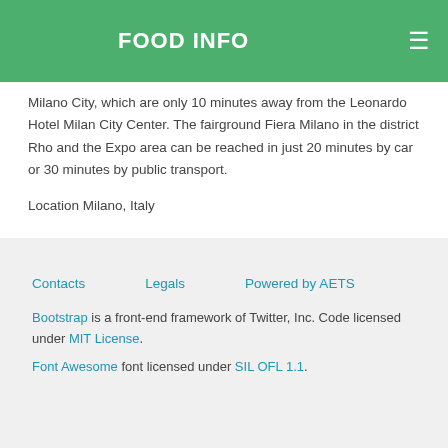FOOD INFO
Milano City, which are only 10 minutes away from the Leonardo Hotel Milan City Center. The fairground Fiera Milano in the district Rho and the Expo area can be reached in just 20 minutes by car or 30 minutes by public transport.
Location Milano, Italy
Contacts   Legals   Powered by AETS
Bootstrap is a front-end framework of Twitter, Inc. Code licensed under MIT License.
Font Awesome font licensed under SIL OFL 1.1.